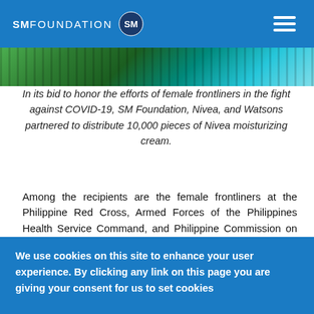SM FOUNDATION
[Figure (photo): Close-up photo of green and teal vertical stripes, appearing to be fabric or similar material.]
In its bid to honor the efforts of female frontliners in the fight against COVID-19, SM Foundation, Nivea, and Watsons partnered to distribute 10,000 pieces of Nivea moisturizing cream.
Among the recipients are the female frontliners at the Philippine Red Cross, Armed Forces of the Philippines Health Service Command, and Philippine Commission on Women (PCW).
Honey Castro, PCW Corporate Affairs and Information Resource Management Division Chief, expressed her gratitude to SM Foundation and its partners: “On behalf of the PCW management and workforce, thank you for the Nivea products that...
We use cookies on this site to enhance your user experience. By clicking any link on this page you are giving your consent for us to set cookies